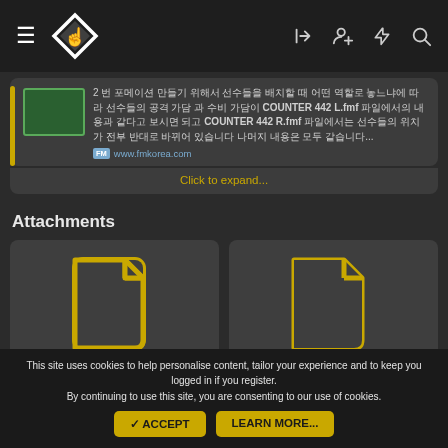[Figure (screenshot): Dark-themed website navigation bar with hamburger menu, diamond logo, and icons for login, add user, lightning, and search.]
2 번 포메이션 만들기 위해서 선수들을 배치할 때 어떤 역할로 놓느냐에 따라 선수들의 공격 가담 과 수비 가담이 COUNTER 442 L.fmf 파일에서의 내용과 같다고 보시면 되고 COUNTER 442 R.fmf 파일에서는 선수들의 위치가 전부 반대로 바뀌어 있습니다 나머지 내용은 모두 같습니다...
www.fmkorea.com
Click to expand...
Attachments
[Figure (other): File attachment icon (document) for COUNTER 442 L.fmf]
COUNTER 442 L.fmf
[Figure (other): File attachment icon (document) for COUNTER 442 R.fmf]
COUNTER 442 R.fmf
This site uses cookies to help personalise content, tailor your experience and to keep you logged in if you register.
By continuing to use this site, you are consenting to our use of cookies.
✓ ACCEPT
LEARN MORE...